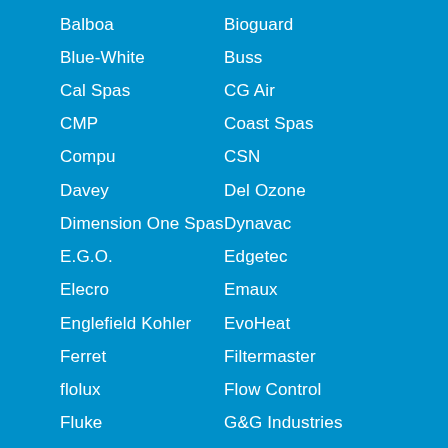Balboa
Bioguard
Blue-White
Buss
Cal Spas
CG Air
CMP
Coast Spas
Compu
CSN
Davey
Del Ozone
Dimension One Spas
Dynavac
E.G.O.
Edgetec
Elecro
Emaux
Englefield Kohler
EvoHeat
Ferret
Filtermaster
flolux
Flow Control
Fluke
G&G Industries